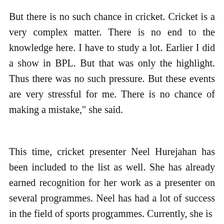But there is no such chance in cricket. Cricket is a very complex matter. There is no end to the knowledge here. I have to study a lot. Earlier I did a show in BPL. But that was only the highlight. Thus there was no such pressure. But these events are very stressful for me. There is no chance of making a mistake," she said.
This time, cricket presenter Neel Hurejahan has been included to the list as well. She has already earned recognition for her work as a presenter on several programmes. Neel has had a lot of success in the field of sports programmes. Currently, she is